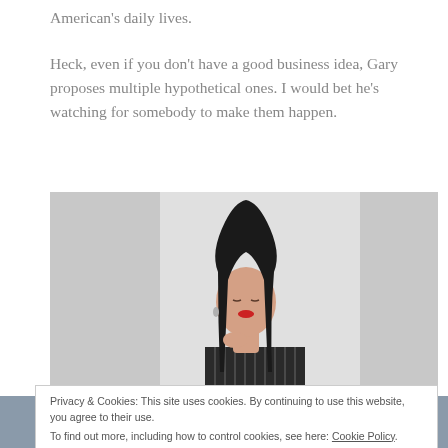American's daily lives.
Heck, even if you don't have a good business idea, Gary proposes multiple hypothetical ones. I would bet he's watching for somebody to make them happen.
[Figure (photo): A woman with long dark hair, red lips, wearing a striped black top, looking downward against a light grey/white background.]
Privacy & Cookies: This site uses cookies. By continuing to use this website, you agree to their use.
To find out more, including how to control cookies, see here: Cookie Policy.
5 SHARES (Facebook, Pinterest, Twitter, Share icons)